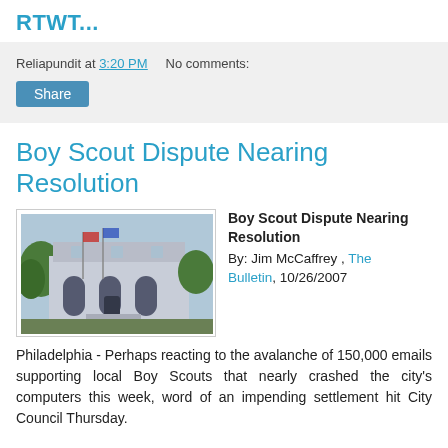RTWT...
Reliapundit at 3:20 PM   No comments:
Share
Boy Scout Dispute Nearing Resolution
[Figure (photo): Photo of a large classical stone building with arched windows and flagpoles in front, with trees visible.]
Boy Scout Dispute Nearing Resolution
By: Jim McCaffrey , The Bulletin, 10/26/2007
Philadelphia - Perhaps reacting to the avalanche of 150,000 emails supporting local Boy Scouts that nearly crashed the city's computers this week, word of an impending settlement hit City Council Thursday.